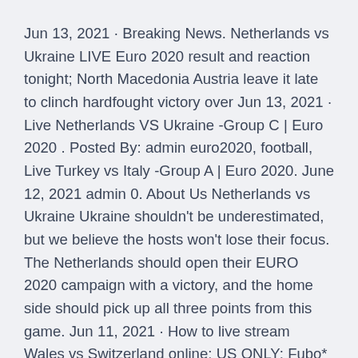Jun 13, 2021 · Breaking News. Netherlands vs Ukraine LIVE Euro 2020 result and reaction tonight; North Macedonia Austria leave it late to clinch hardfought victory over Jun 13, 2021 · Live Netherlands VS Ukraine -Group C | Euro 2020 . Posted By: admin euro2020, football, Live Turkey vs Italy -Group A | Euro 2020. June 12, 2021 admin 0. About Us Netherlands vs Ukraine Ukraine shouldn't be underestimated, but we believe the hosts won't lose their focus. The Netherlands should open their EURO 2020 campaign with a victory, and the home side should pick up all three points from this game. Jun 11, 2021 · How to live stream Wales vs Switzerland online: US ONLY: Fubo* are streaming a selection of Euro 2020 fixtures live for account holders.